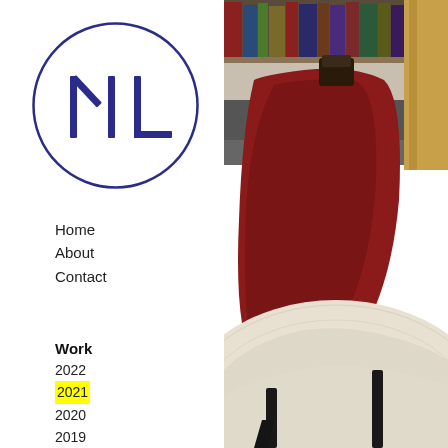[Figure (logo): Circular logo with navy blue border, containing stylized letters 'M' and 'L' in navy blue]
Home
About
Contact
Work
2022
2021
2020
2019
2018
2017
2016
2015
[Figure (photo): Photo of a red upholstered chair with dark wooden legs on a cream/beige rug, with bookshelves visible in the background]